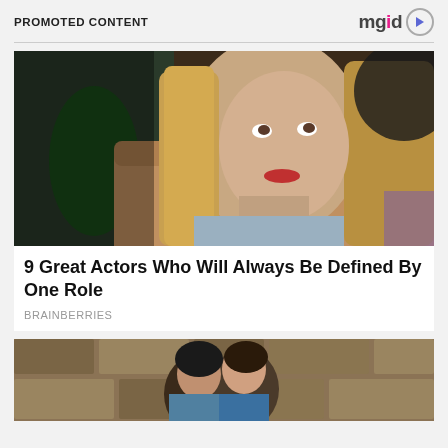PROMOTED CONTENT
[Figure (logo): mgid logo with colorful letters and play button icon]
[Figure (photo): A blonde woman with straight hair sitting on a couch, looking upward with a skeptical expression, from a TV show set]
9 Great Actors Who Will Always Be Defined By One Role
BRAINBERRIES
[Figure (photo): A couple appearing to kiss or embrace near a stone wall, outdoor setting]